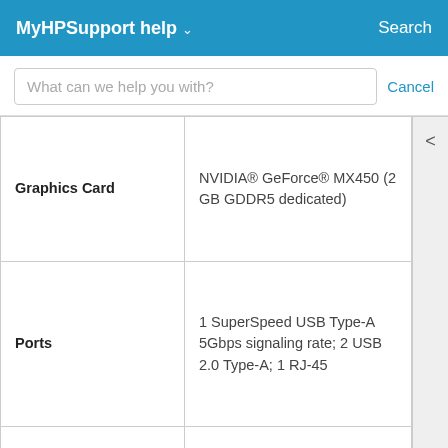MyHPSupport help  Search
What can we help you with?   Cancel
| Feature | Details |
| --- | --- |
| Graphics Card | NVIDIA® GeForce® MX450 (2 GB GDDR5 dedicated) |
| Ports | 1 SuperSpeed USB Type-A 5Gbps signaling rate; 2 USB 2.0 Type-A; 1 RJ-45 |
| Expansion Slots | 2 M.2 (1 for SSD, 1 for WLAN) |